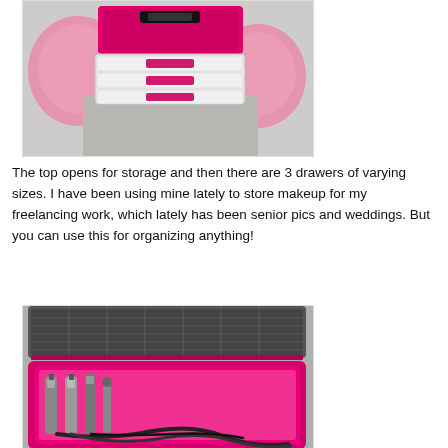[Figure (photo): Pink plastic organizer case with clear drawers containing makeup and supplies, pink decorative pillows in background on a marble-patterned surface]
The top opens for storage and then there are 3 drawers of varying sizes. I have been using mine lately to store makeup for my freelancing work, which lately has been senior pics and weddings. But you can use this for organizing anything!
[Figure (photo): Open pink hard case/box containing hair styling tools including curling irons and flat irons with black cords, gray grid foam interior visible in lid]